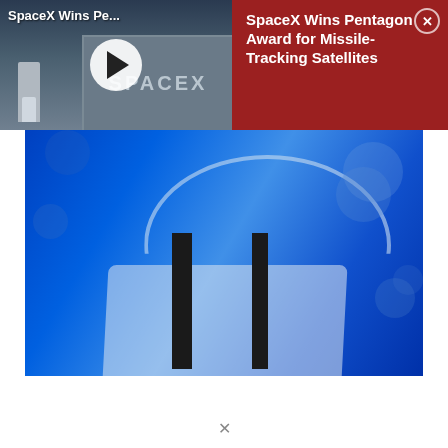[Figure (screenshot): Video thumbnail showing SpaceX launch facility with rocket and SpaceX building, with play button overlay]
SpaceX Wins Pe...
[Figure (infographic): Red advertisement panel with close button reading SpaceX Wins Pentagon Award for Missile-Tracking Satellites]
SpaceX Wins Pentagon Award for Missile-Tracking Satellites
[Figure (photo): Close-up photo of glass or lens components on blue background, possibly satellite or optical components]